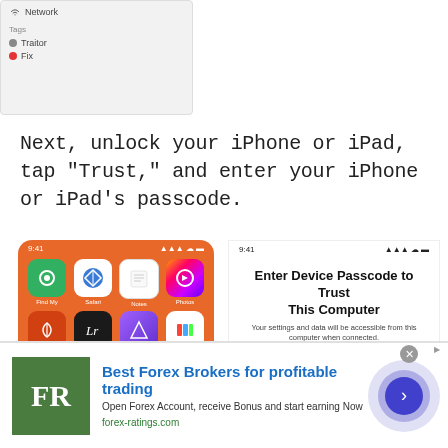[Figure (screenshot): iOS settings screenshot showing Network section with Tags: Trailer (gray dot) and Fix (red dot)]
Next, unlock your iPhone or iPad, tap "Trust," and enter your iPhone or iPad's passcode.
[Figure (screenshot): Left: iPhone home screen with orange background showing apps (Find My, Safari, Notes, Photos, Audible, Lightroom, Shortcuts, Google Fi, and others) and a Trust This Computer popup at the bottom. Right: iPhone passcode entry screen showing 'Enter Device Passcode to Trust This Computer' with 6 empty passcode circles and a numpad showing 1, 2 (ABC), 3 (DEF).]
[Figure (screenshot): Advertisement banner: Best Forex Brokers for profitable trading. Open Forex Account, receive Bonus and start earning Now. forex-ratings.com]